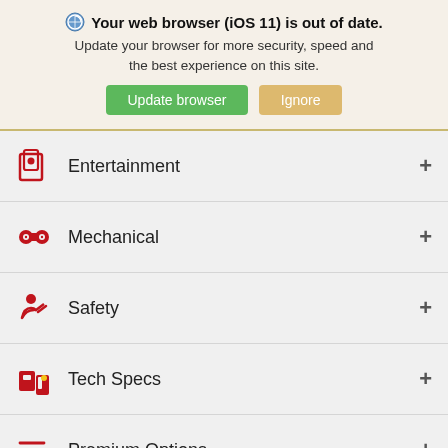🌐 Your web browser (iOS 11) is out of date. Update your browser for more security, speed and the best experience on this site. [Update browser] [Ignore]
Entertainment +
Mechanical +
Safety +
Tech Specs +
Premium Options +
We have changed our hours, click here to learn more!
Search  Saved  Share  Contact